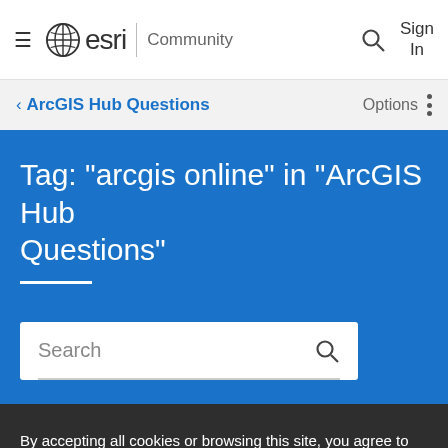≡ esri | Community  🔍  Sign In
‹ ArcGIS Hub Questions    Options ⋮
Tag: "arcgis online" in "ArcGIS Hub Questions"
Search 🔍
By accepting all cookies or browsing this site, you agree to the storing of cookies on your device to assist Esri in analyzing visitor behavior, improving your experience, and delivering